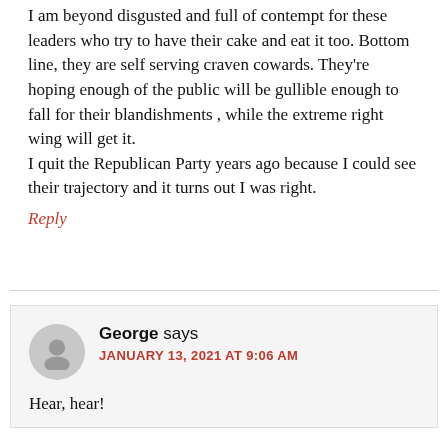I am beyond disgusted and full of contempt for these leaders who try to have their cake and eat it too. Bottom line, they are self serving craven cowards. They're hoping enough of the public will be gullible enough to fall for their blandishments , while the extreme right wing will get it.
I quit the Republican Party years ago because I could see their trajectory and it turns out I was right.
Reply
George says
JANUARY 13, 2021 AT 9:06 AM
Hear, hear!